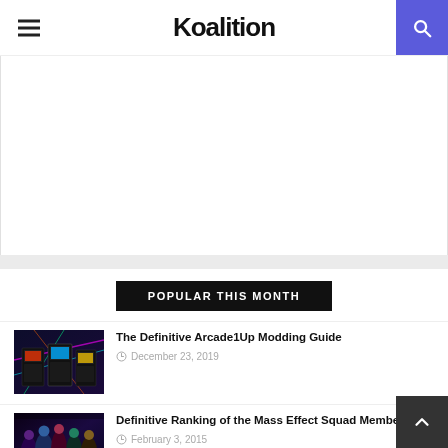Koalition
[Figure (other): Advertisement placeholder area (blank white box)]
POPULAR THIS MONTH
[Figure (photo): Arcade1Up cabinet machines with colorful lighting]
The Definitive Arcade1Up Modding Guide
December 23, 2019
[Figure (photo): Mass Effect squad members character art]
Definitive Ranking of the Mass Effect Squad Members
February 3, 2015